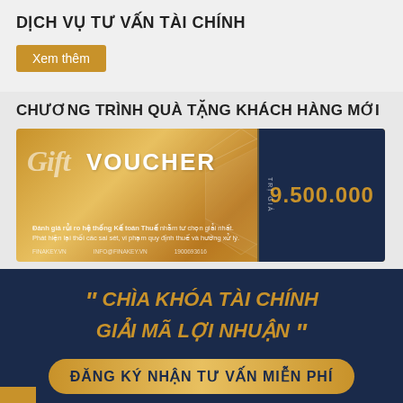DỊCH VỤ TƯ VẤN TÀI CHÍNH
Xem thêm
CHƯƠNG TRÌNH QUÀ TẶNG KHÁCH HÀNG MỚI
[Figure (other): Gold gift voucher with FINAKEY branding showing value of 9.500.000 VND, with decorative diamond pattern background and dark navy value box]
[Figure (infographic): Dark navy banner with gold italic quote text reading CHÌA KHÓA TÀI CHÍNH GIẢI MÃ LỢI NHUẬN with quotation marks, and a gold rounded button reading ĐĂNG KÝ NHẬN TƯ VẤN MIỄN PHÍ]